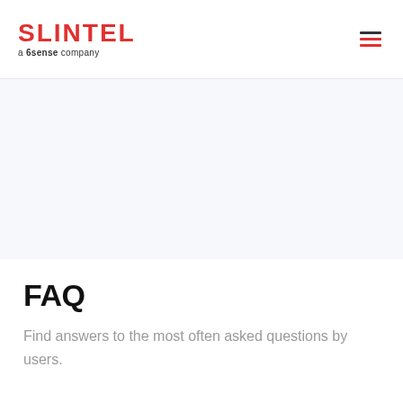SLINTEL a 6sense company
FAQ
Find answers to the most often asked questions by users.